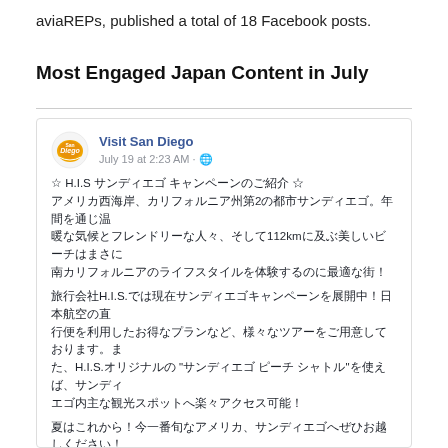aviaREPs, published a total of 18 Facebook posts.
Most Engaged Japan Content in July
[Figure (screenshot): Facebook post from Visit San Diego, dated July 19 at 2:23 AM. Post contains Japanese text about H.I.S. San Diego campaign, featuring a link to https://www.his-j.com/tabi/feature/san_diego/ and an image of San Diego palm trees with a video play button.]